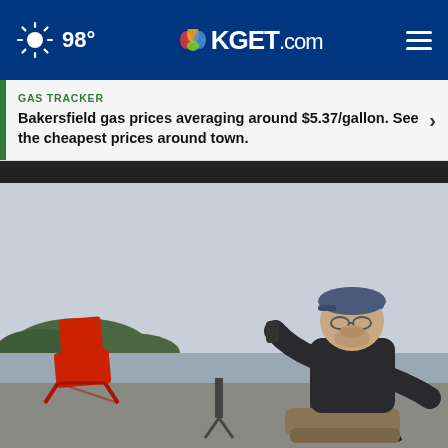98° KGET.com
GAS TRACKER
Bakersfield gas prices averaging around $5.37/gallon. See the cheapest prices around town.
[Figure (photo): Man sitting in a folding chair outdoors near a waterfront, drinking from a bottle or cup. A red folding chair is visible to his left. He is wearing a dark long-sleeve shirt and khaki pants and a cap. Overcast sky and trees in background.]